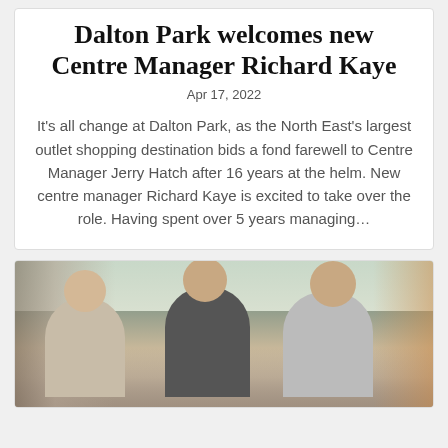Dalton Park welcomes new Centre Manager Richard Kaye
Apr 17, 2022
It's all change at Dalton Park, as the North East's largest outlet shopping destination bids a fond farewell to Centre Manager Jerry Hatch after 16 years at the helm. New centre manager Richard Kaye is excited to take over the role. Having spent over 5 years managing...
[Figure (photo): Three young people smiling on a busy outdoor street, with buildings and crowd in the background]